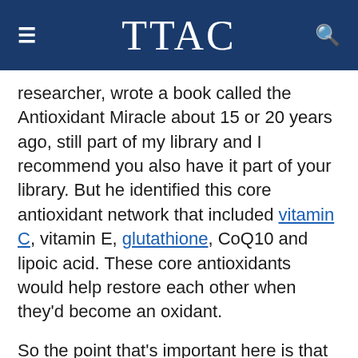TTAC
researcher, wrote a book called the Antioxidant Miracle about 15 or 20 years ago, still part of my library and I recommend you also have it part of your library. But he identified this core antioxidant network that included vitamin C, vitamin E, glutathione, CoQ10 and lipoic acid. These core antioxidants would help restore each other when they'd become an oxidant.
So the point that's important here is that antioxidants squinch oxidation, but now we have a life that is bombarded with radiation and environmental hazards and all kinds of things and stress. So we need more antioxidants, and we discovered many more to support the antioxidant